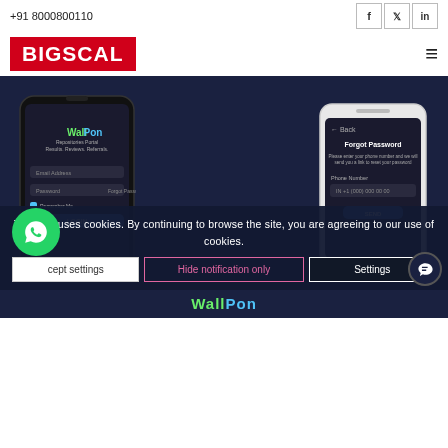+91 8000800110
[Figure (logo): BIGSCAL logo in white text on red background]
[Figure (screenshot): Two smartphone mockups showing WallPon app screens: left phone shows login screen with WallPon branding (Repositories Portal, Results, Reviews, Referrals) on dark background; right phone shows Forgot Password screen on a white-bordered device]
This site uses cookies. By continuing to browse the site, you are agreeing to our use of cookies.
cept settings
Hide notification only
Settings
WallPon